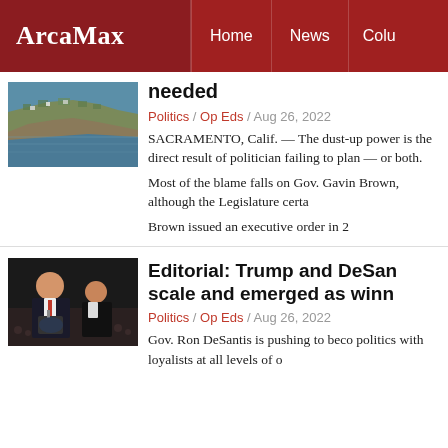ArcaMax | Home | News | Colu
[Figure (photo): Aerial view of a coastal town with rocky cliffs and blue water]
needed
Politics / Op Eds / Aug 26, 2022
SACRAMENTO, Calif. — The dust-up power is the direct result of politician failing to plan — or both.
Most of the blame falls on Gov. Gavin Brown, although the Legislature certa
Brown issued an executive order in 2
[Figure (photo): Photo of Trump and DeSantis at a rally]
Editorial: Trump and DeSan scale and emerged as winn
Politics / Op Eds / Aug 26, 2022
Gov. Ron DeSantis is pushing to beco politics with loyalists at all levels of o